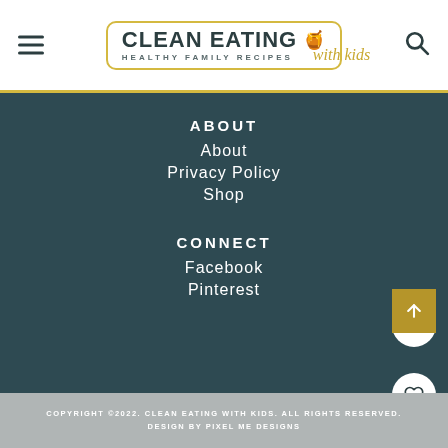CLEAN EATING with kids HEALTHY FAMILY RECIPES
ABOUT
About
Privacy Policy
Shop
CONNECT
Facebook
Pinterest
COPYRIGHT ©2022. CLEAN EATING WITH KIDS. ALL RIGHTS RESERVED. DESIGN BY PIXEL ME DESIGNS